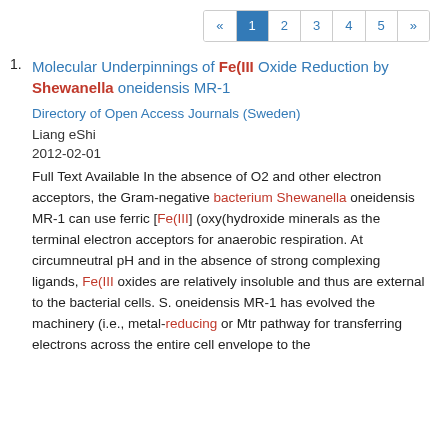« 1 2 3 4 5 »
Molecular Underpinnings of Fe(III Oxide Reduction by Shewanella oneidensis MR-1
Directory of Open Access Journals (Sweden)
Liang eShi
2012-02-01
Full Text Available In the absence of O2 and other electron acceptors, the Gram-negative bacterium Shewanella oneidensis MR-1 can use ferric [Fe(III] (oxy(hydroxide minerals as the terminal electron acceptors for anaerobic respiration. At circumneutral pH and in the absence of strong complexing ligands, Fe(III oxides are relatively insoluble and thus are external to the bacterial cells. S. oneidensis MR-1 has evolved the machinery (i.e., metal-reducing or Mtr pathway for transferring electrons across the entire cell envelope to the